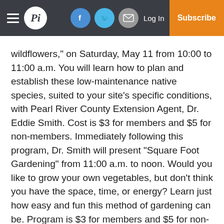Pi — Log In | Subscribe
wildflowers," on Saturday, May 11 from 10:00 to 11:00 a.m. You will learn how to plan and establish these low-maintenance native species, suited to your site's specific conditions, with Pearl River County Extension Agent, Dr. Eddie Smith. Cost is $3 for members and $5 for non-members. Immediately following this program, Dr. Smith will present "Square Foot Gardening" from 11:00 a.m. to noon. Would you like to grow your own vegetables, but don't think you have the space, time, or energy? Learn just how easy and fun this method of gardening can be. Program is $3 for members and $5 for non-members.